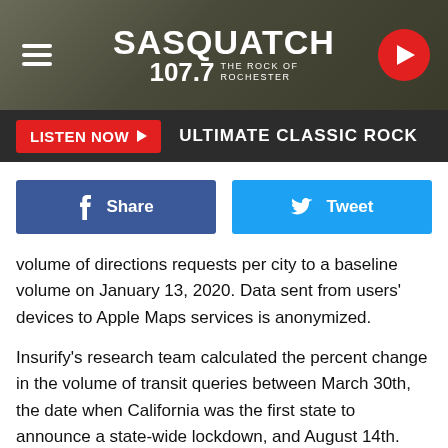[Figure (screenshot): Sasquatch 107.7 The Rock of Rochester radio station website header banner with logo, hamburger menu, and play button]
LISTEN NOW ▶  ULTIMATE CLASSIC ROCK
f  Share    🐦  Tweet
volume of directions requests per city to a baseline volume on January 13, 2020. Data sent from users' devices to Apple Maps services is anonymized.

Insurify's research team calculated the percent change in the volume of transit queries between March 30th, the date when California was the first state to announce a state-wide lockdown, and August 14th. City transportation budgets were derived from each cities' expenditure reports for the most recent fiscal year as disclosed on their municipal websites. The most recently available data was variable between cities,